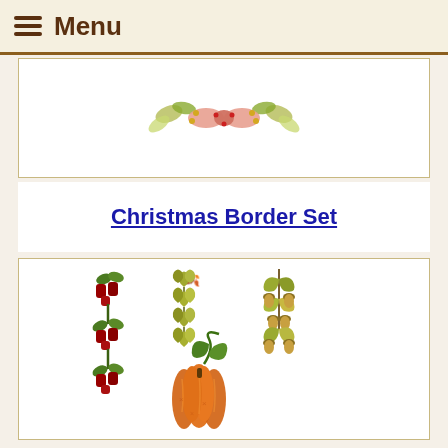Menu
[Figure (illustration): Decorative cross-stitch Christmas/floral border motif in pink, green and gold tones centered in a white card]
Christmas Border Set
[Figure (illustration): Cross-stitch embroidery designs showing: red berry/holly border strip, autumn leaves border strip, oak leaf and acorn cluster, and an orange pumpkin with green vine]